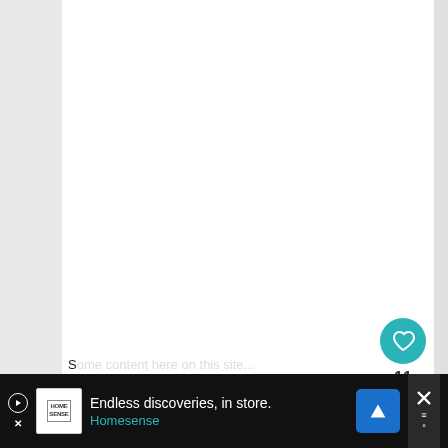[Figure (screenshot): Website screenshot with left sidebar, white main content area, teal heart/like button showing count of 11, share button, gray arrow tab, and a 'What's Next' panel showing '10 Amazing Summer...' article thumbnail]
S...
[Figure (screenshot): Advertisement banner: Home Sense logo with text 'Endless discoveries, in store.' and 'Homesense' brand link, blue navigation icon, close button with X]